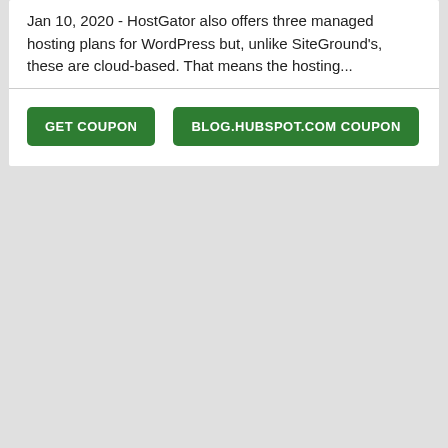Jan 10, 2020 - HostGator also offers three managed hosting plans for WordPress but, unlike SiteGround's, these are cloud-based. That means the hosting...
[Figure (screenshot): Two green call-to-action buttons: 'GET COUPON' and 'BLOG.HUBSPOT.COM COUPON']